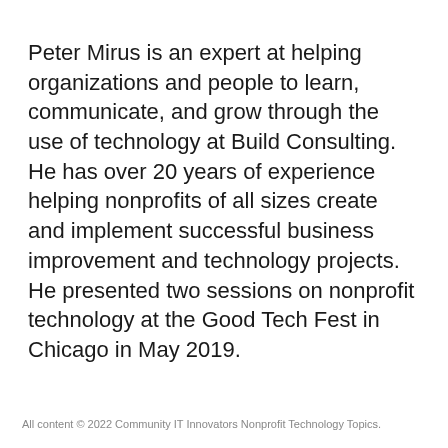Peter Mirus is an expert at helping organizations and people to learn, communicate, and grow through the use of technology at Build Consulting. He has over 20 years of experience helping nonprofits of all sizes create and implement successful business improvement and technology projects. He presented two sessions on nonprofit technology at the Good Tech Fest in Chicago in May 2019.
All content © 2022 Community IT Innovators Nonprofit Technology Topics.